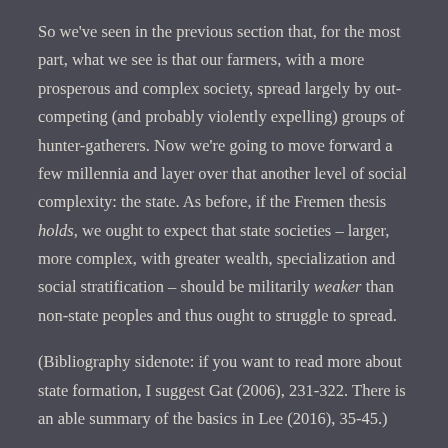So we've seen in the previous section that, for the most part, what we see is that our farmers, with a more prosperous and complex society, spread largely by out-competing (and probably violently expelling) groups of hunter-gatherers. Now we're going to move forward a few millennia and layer over that another level of social complexity: the state. As before, if the Fremen thesis holds, we ought to expect that state societies – larger, more complex, with greater wealth, specialization and social stratification – should be militarily weaker than non-state peoples and thus ought to struggle to spread.
(Bibliography sidenote: if you want to read more about state formation, I suggest Gat (2006), 231-322. There is an able summary of the basics in Lee (2016), 35-45.)